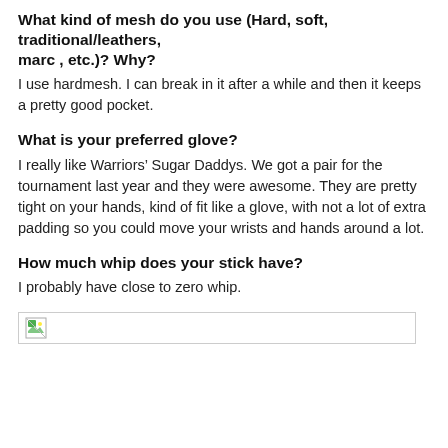What kind of mesh do you use (Hard, soft, traditional/leathers, marc , etc.)? Why?
I use hardmesh. I can break in it after a while and then it keeps a pretty good pocket.
What is your preferred glove?
I really like Warriors’ Sugar Daddys. We got a pair for the tournament last year and they were awesome. They are pretty tight on your hands, kind of fit like a glove, with not a lot of extra padding so you could move your wrists and hands around a lot.
How much whip does your stick have?
I probably have close to zero whip.
[Figure (other): Broken image placeholder icon with a small colored icon graphic]